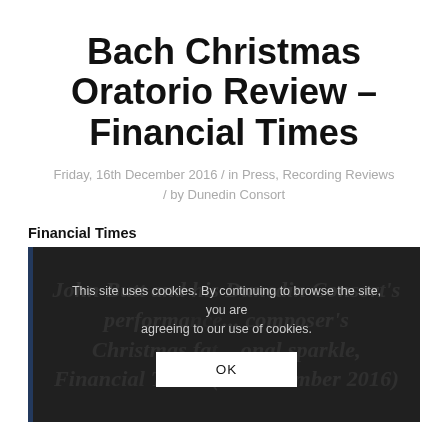Bach Christmas Oratorio Review – Financial Times
Friday, 16th December 2016 / in Press, Recording Reviews / by Dunedin Consort
Financial Times
[Figure (screenshot): Screenshot of Financial Times website showing article text partially obscured by a cookie consent overlay. Background text reads: 'John Butt and his Dunedin Consort's performance... composer's Christmas fa... onal sparkle, Financial Times (10 December 2016)'. Overlay reads: 'This site uses cookies. By continuing to browse the site, you are agreeing to our use of cookies.' with an OK button.]